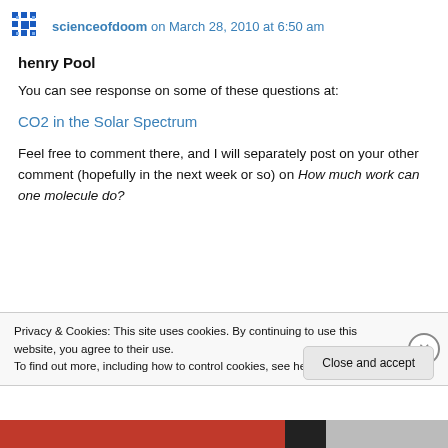scienceofdoom on March 28, 2010 at 6:50 am
henry Pool
You can see response on some of these questions at:
CO2 in the Solar Spectrum
Feel free to comment there, and I will separately post on your other comment (hopefully in the next week or so) on How much work can one molecule do?
Privacy & Cookies: This site uses cookies. By continuing to use this website, you agree to their use.
To find out more, including how to control cookies, see here: Cookie Policy